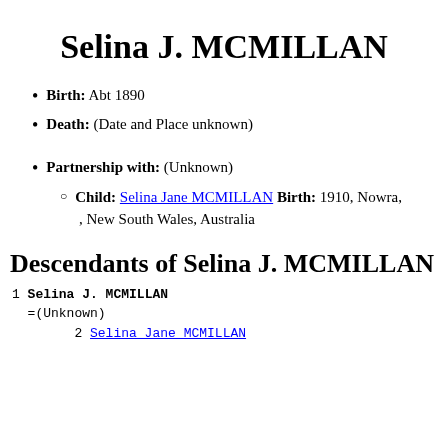Selina J. MCMILLAN
Birth: Abt 1890
Death: (Date and Place unknown)
Partnership with: (Unknown)
Child: Selina Jane MCMILLAN Birth: 1910, Nowra, , New South Wales, Australia
Descendants of Selina J. MCMILLAN
1 Selina J. MCMILLAN
  =(Unknown)
        2 Selina Jane MCMILLAN